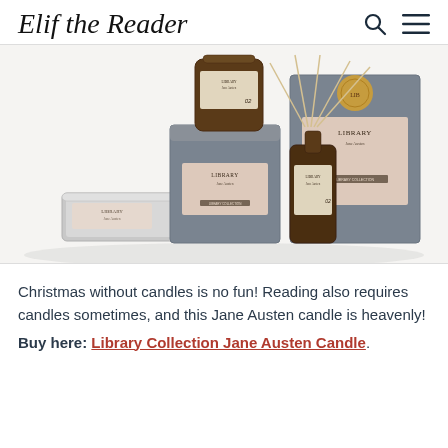Elif the Reader
[Figure (photo): Library Collection Jane Austen candle products: amber glass jar candle, grey gift box with Library label, silver tin candle, and reed diffuser bottle with sticks, all showing Library Collection branding with pink labels.]
Christmas without candles is no fun! Reading also requires candles sometimes, and this Jane Austen candle is heavenly!
Buy here: Library Collection Jane Austen Candle.